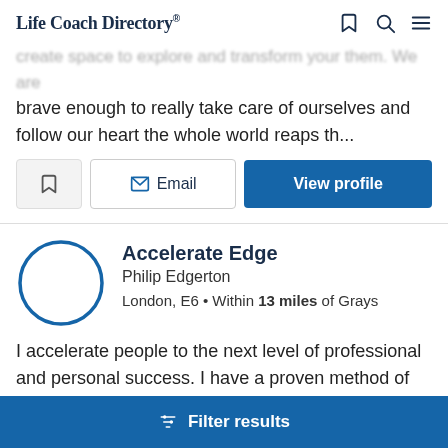Life Coach Directory
...brave enough to really take care of ourselves and follow our heart the whole world reaps th...
Accelerate Edge
Philip Edgerton
London, E6 • Within 13 miles of Grays
I accelerate people to the next level of professional and personal success. I have a proven method of helping you understand what's getting in the way, what success looks
Filter results